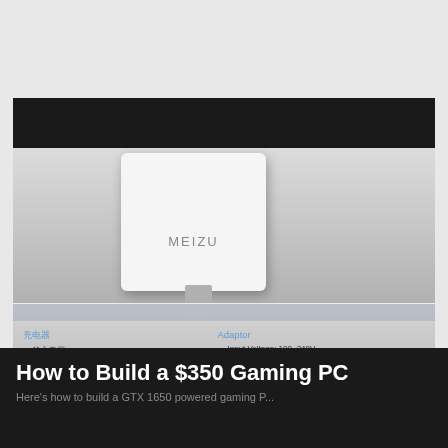[Figure (photo): Photo of a white Meizu USB charger/adaptor sitting on a glass display shelf. Below the charger is a spec sheet in Chinese and English showing: Input Voltage 100~240V, Rated Power 55W, Output Voltage 11V Max, Output Current 5A Max, USB PD Support.]
How to Build a $350 Gaming PC
Here's how to build a GTX 1650 powered gaming P...